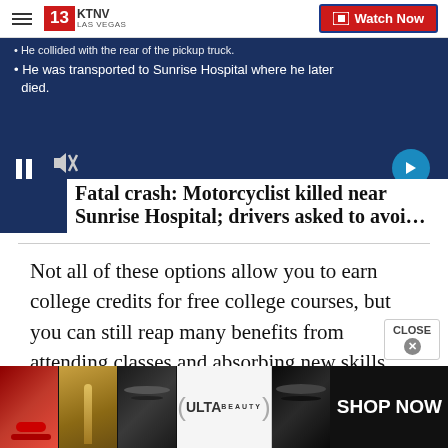KTNV LAS VEGAS | Watch Now
[Figure (screenshot): News video player showing bullet points: He collided with the rear of the pickup truck. He was transported to Sunrise Hospital where he later died. Video controls visible including pause and mute buttons, next arrow button, timestamp 5:01, 13 NEWS badge.]
Fatal crash: Motorcyclist killed near Sunrise Hospital; drivers asked to avoi...
Not all of these options allow you to earn college credits for free college courses, but you can still reap many benefits from attending classes and absorbing new skills and ideas.
[Figure (photo): Ulta Beauty advertisement banner showing makeup images: lips with red lipstick, makeup brush, eye with mascara, Ulta Beauty logo, eye with eyeliner. SHOP NOW text on right.]